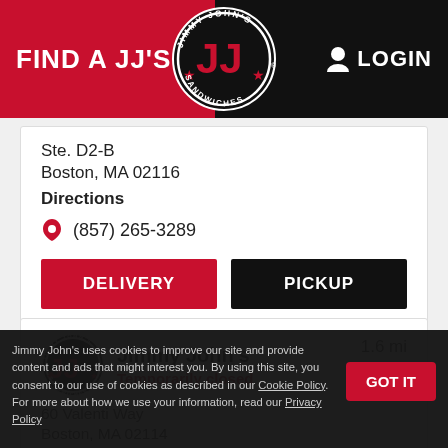FIND A JJ'S | LOGIN
Ste. D2-B
Boston, MA 02116
Directions
(857) 265-3289
DELIVERY
PICKUP
Jimmy John's  1.6 mi
Temporarily closed
60 Valenti Way
Boston, MA 02114
Directions
Jimmy John's uses cookies to improve our site and provide content and ads that might interest you. By using this site, you consent to our use of cookies as described in our Cookie Policy. For more about how we use your information, read our Privacy Policy